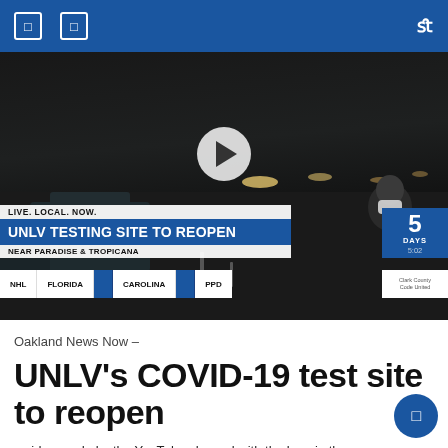navigation header with menu and search icons
[Figure (screenshot): News broadcast screenshot showing night scene of UNLV COVID-19 testing site with lower-third graphics: 'LIVE. LOCAL. NOW.' / 'UNLV TESTING SITE TO REOPEN' / 'NEAR PARADISE & TROPICANA'. Ticker bar shows NHL, FLORIDA, CAROLINA, PPD scores. Days counter shows 5 DAYS 5:02. Play button overlay visible.]
Oakland News Now –
UNLV's COVID-19 test site to reopen
– video made by the YouTube channel with the logo in the